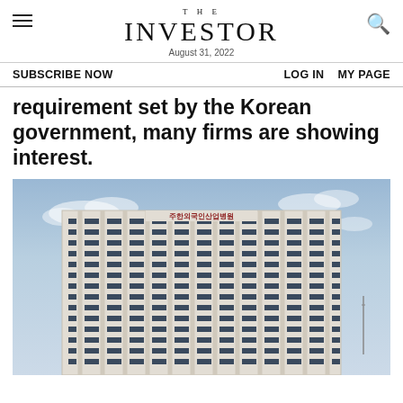THE INVESTOR — August 31, 2022
SUBSCRIBE NOW    LOG IN    MY PAGE
requirement set by the Korean government, many firms are showing interest.
[Figure (photo): Exterior photograph of a tall multi-story commercial office building with white facade, dark windows in a grid pattern, and Korean characters on the rooftop sign, shot against a light blue sky with clouds.]